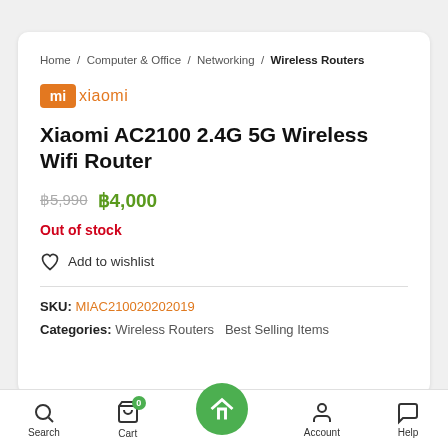Home / Computer & Office / Networking / Wireless Routers
[Figure (logo): Xiaomi MI logo - orange MI icon with Xiaomi text in orange]
Xiaomi AC2100 2.4G 5G Wireless Wifi Router
฿5,990  ฿4,000
Out of stock
Add to wishlist
SKU: MIAC210020202019
Categories: Wireless Routers  Best Selling Items
Search  Cart  Home  Account  Help